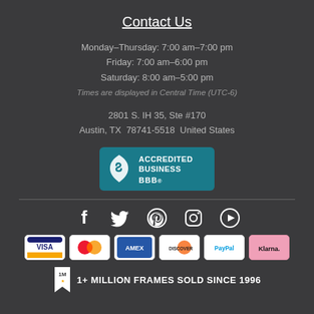Contact Us
Monday–Thursday: 7:00 am–7:00 pm
Friday: 7:00 am–6:00 pm
Saturday: 8:00 am–5:00 pm
Times are displayed in Central Time (UTC-6)
2801 S. IH 35, Ste #170
Austin, TX  78741-5518  United States
[Figure (logo): BBB Accredited Business badge with teal background and flame logo]
[Figure (infographic): Social media icons: Facebook, Twitter, Pinterest, Instagram, YouTube]
[Figure (infographic): Payment method logos: Visa, Mastercard, Amex, Discover, PayPal, Klarna]
1+ MILLION FRAMES SOLD SINCE 1996